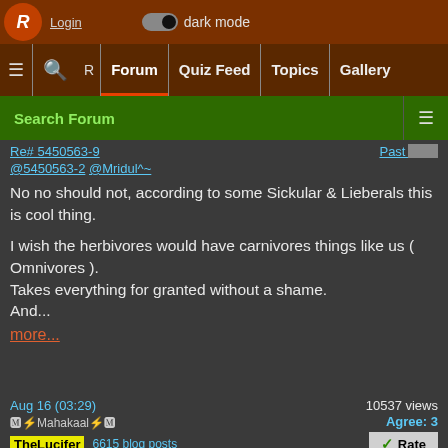Login | dark mode
Forum | Quiz Feed | Topics | Gallery
Search Forum
Re# 5450563-9   Past Edits
@5450563-2 @Mridul^~
No no should not, according to some Sickular & Lieberals this is cool thing.

I wish the herbivores would have carnivores things like us ( Omnivores ).
Takes everything for granted without a shame.
And...
more...
Aug 16 (03:29)   10537 views
🅂Mahakaal⚡🅂
TheLucifer   6615 blog posts   Agree: 3
Re# 5450563-10   Past Edits
@5450563-7 @Shaurya117^~